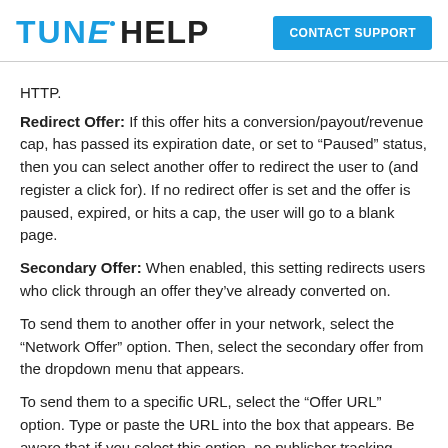TUNE HELP | CONTACT SUPPORT
HTTP.
Redirect Offer: If this offer hits a conversion/payout/revenue cap, has passed its expiration date, or set to “Paused” status, then you can select another offer to redirect the user to (and register a click for). If no redirect offer is set and the offer is paused, expired, or hits a cap, the user will go to a blank page.
Secondary Offer: When enabled, this setting redirects users who click through an offer they’ve already converted on.
To send them to another offer in your network, select the “Network Offer” option. Then, select the secondary offer from the dropdown menu that appears.
To send them to a specific URL, select the “Offer URL” option. Type or paste the URL into the box that appears. Be aware that if you select this option, no publisher tracking information